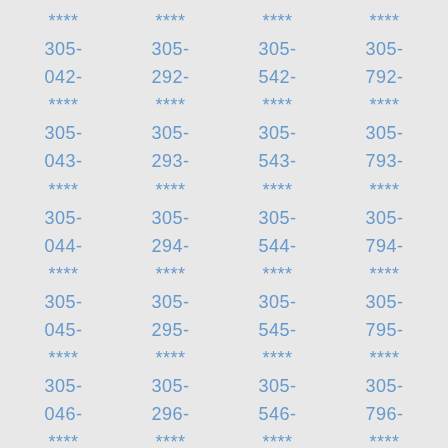****  ****  ****  ****
305-  305-  305-  305-
042-  292-  542-  792-
****  ****  ****  ****
305-  305-  305-  305-
043-  293-  543-  793-
****  ****  ****  ****
305-  305-  305-  305-
044-  294-  544-  794-
****  ****  ****  ****
305-  305-  305-  305-
045-  295-  545-  795-
****  ****  ****  ****
305-  305-  305-  305-
046-  296-  546-  796-
****  ****  ****  ****
305-  305-  305-  305-